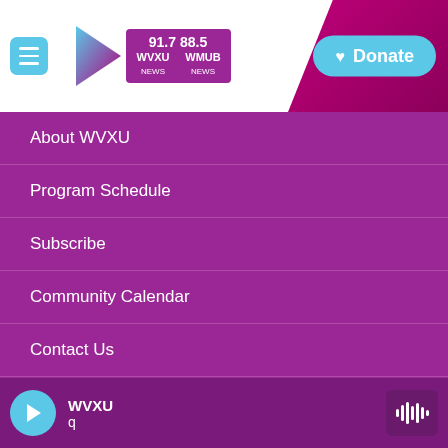[Figure (screenshot): WVXU radio station website header with hamburger menu, WVXU/WMUB logo (91.7 WVXU NEWS / 88.5 WMUB NEWS), decorative purple diagonal background, and teal Donate button with heart icon]
About WVXU
Program Schedule
Subscribe
Community Calendar
Contact Us
WVXU Democracy and Me for Educators
Privacy Policy and Terms of Use
FCC Public Inspection File: 88.5 WMUB
FCC Public Inspection File: — WVXU (partially visible)
[Figure (screenshot): Bottom audio player bar with teal play button, WVXU station name, 'q' text, and waveform/audio icon on right]